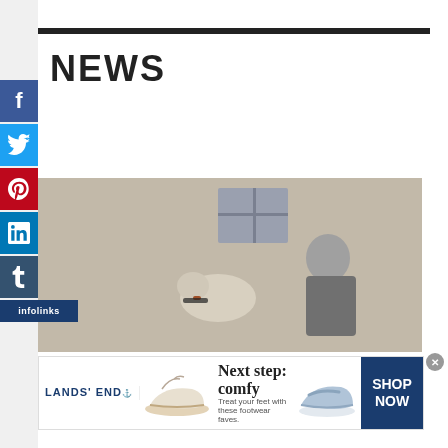NEWS
[Figure (photo): A man sitting outdoors against a brick wall with a light-colored dog wearing a collar]
[Figure (other): Lands End advertisement banner: Next step: comfy - Treat your feet with these footwear faves. Shows sandals and slide shoes. SHOP NOW button.]